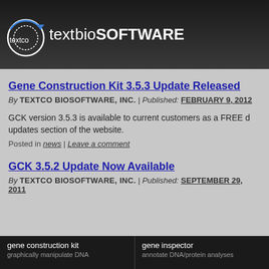[Figure (logo): Textco BioSoftware logo with circular arrow graphic and text 'textco bioSOFTWARE']
Gene Construction Kit 3.5.3 Update Released
By TEXTCO BIOSOFTWARE, INC. | Published: FEBRUARY 9, 2012
GCK version 3.5.3 is available to current customers as a FREE d... updates section of the website.
Posted in news | Leave a comment
GCK 3.5.2 Update Now Available
By TEXTCO BIOSOFTWARE, INC. | Published: SEPTEMBER 29, 2011
gene construction kit
graphically manipulate DNA
gene inspector
annotate DNA/protein analyses